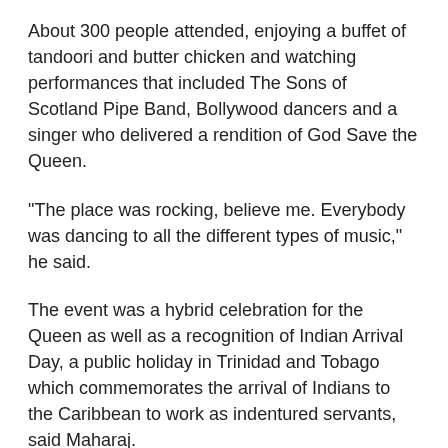About 300 people attended, enjoying a buffet of tandoori and butter chicken and watching performances that included The Sons of Scotland Pipe Band, Bollywood dancers and a singer who delivered a rendition of God Save the Queen.
"The place was rocking, believe me. Everybody was dancing to all the different types of music," he said.
The event was a hybrid celebration for the Queen as well as a recognition of Indian Arrival Day, a public holiday in Trinidad and Tobago which commemorates the arrival of Indians to the Caribbean to work as indentured servants, said Maharaj.
"It gave us a good reason to add it, since we are a large part of the British Commonwealth and British heritage," he said.
The Governor General and her husband Whit Fraser have